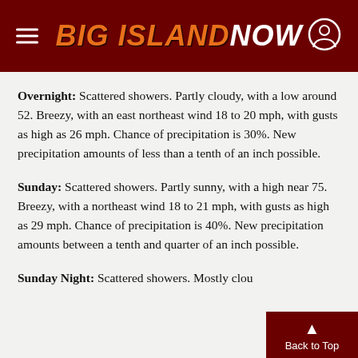BIG ISLAND NOW
Overnight: Scattered showers. Partly cloudy, with a low around 52. Breezy, with an east northeast wind 18 to 20 mph, with gusts as high as 26 mph. Chance of precipitation is 30%. New precipitation amounts of less than a tenth of an inch possible.
Sunday: Scattered showers. Partly sunny, with a high near 75. Breezy, with a northeast wind 18 to 21 mph, with gusts as high as 29 mph. Chance of precipitation is 40%. New precipitation amounts between a tenth and quarter of an inch possible.
Sunday Night: Scattered showers. Mostly clou...